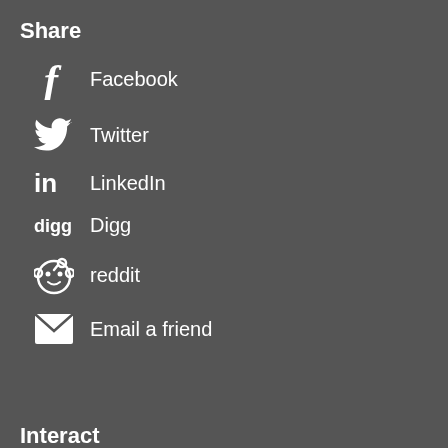Share
Facebook
Twitter
LinkedIn
Digg
reddit
Email a friend
Interact